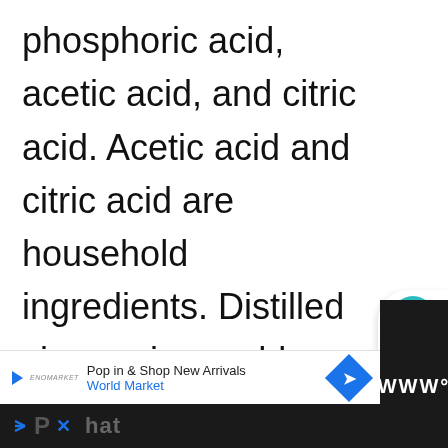phosphoric acid, acetic acid, and citric acid. Acetic acid and citric acid are household ingredients. Distilled vinegar is roughly 5% acetic acid. Citric acid is a compound in lemon and lime, which is why those are almost always listed as natural cleaning agents. Industrial strength rust removers will be either hydrochloric acid, or phosphoric. Hydrochloric acid is the strongest.
[Figure (other): Social sidebar with heart/like button (teal circle), count of 1, and share button]
[Figure (other): What's Next overlay with thumbnail image of foliage and text '9 Common Causes of...']
[Figure (other): Advertisement bar: World Market 'Pop in & Shop New Arrivals' with play icon, logo, and navigation arrow diamond]